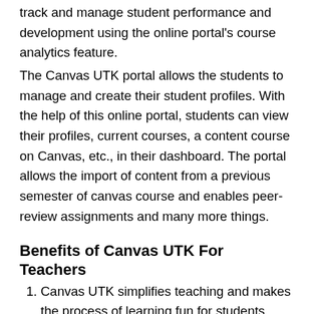track and manage student performance and development using the online portal's course analytics feature.
The Canvas UTK portal allows the students to manage and create their student profiles. With the help of this online portal, students can view their profiles, current courses, a content course on Canvas, etc., in their dashboard. The portal allows the import of content from a previous semester of canvas course and enables peer-review assignments and many more things.
Benefits of Canvas UTK For Teachers
Canvas UTK simplifies teaching and makes the process of learning fun for students